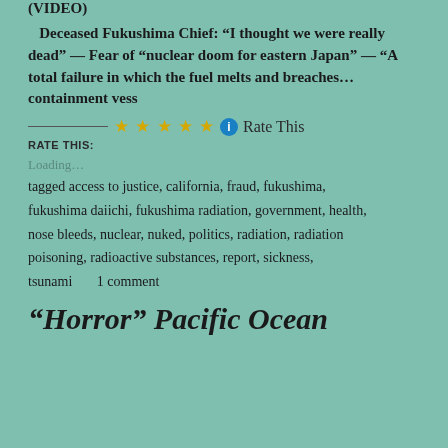(VIDEO)
Deceased Fukushima Chief: “I thought we were really dead” — Fear of “nuclear doom for eastern Japan” — “A total failure in which the fuel melts and breaches… containment vess
RATE THIS: ★★★★★ Rate This
Loading…
tagged access to justice, california, fraud, fukushima, fukushima daiichi, fukushima radiation, government, health, nose bleeds, nuclear, nuked, politics, radiation, radiation poisoning, radioactive substances, report, sickness, tsunami      1 comment
“Horror” Pacific Ocean